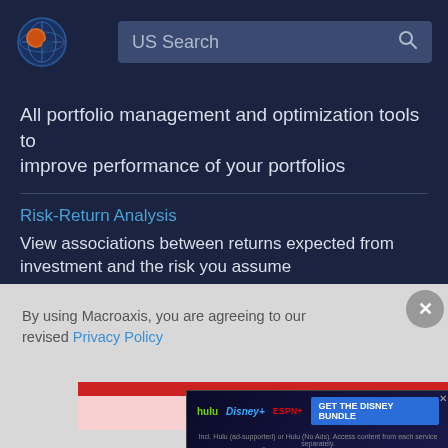[Figure (logo): Macroaxis globe logo — orange and blue circular icon]
US Search
All portfolio management and optimization tools to improve performance of your portfolios
Risk-Return Analysis
View associations between returns expected from investment and the risk you assume
By using Macroaxis, you are agreeing to our revised Privacy Policy
OK
[Figure (screenshot): Disney Bundle advertisement banner showing Hulu, Disney+, ESPN+ logos and GET THE DISNEY BUNDLE CTA button]